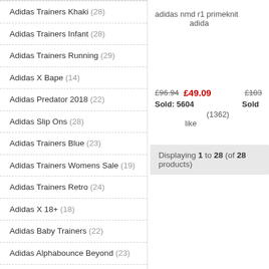Adidas Trainers Khaki (28)
Adidas Trainers Infant (28)
Adidas Trainers Running (29)
Adidas X Bape (14)
Adidas Predator 2018 (22)
Adidas Slip Ons (28)
Adidas Trainers Blue (23)
Adidas Trainers Womens Sale (19)
Adidas Trainers Retro (24)
Adidas X 18+ (18)
Adidas Baby Trainers (22)
Adidas Alphabounce Beyond (23)
Adidas Gazelle Original (13)
Adidas Gazelle Black Mens (17)
Adidas Football Boots X (26)
adidas nmd r1 primeknit
£96.94  £49.09  £103...
Sold: 5604   Sold
(1362)   like
Displaying 1 to 28 (of 28 products)